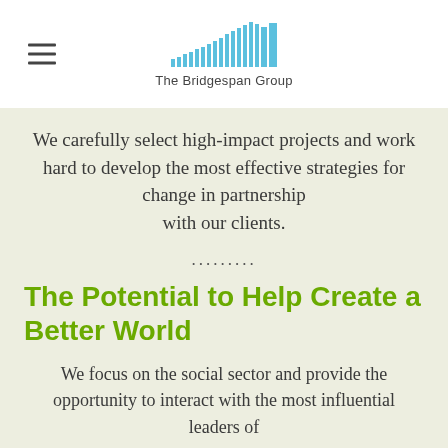The Bridgespan Group
We carefully select high-impact projects and work hard to develop the most effective strategies for change in partnership with our clients.
.........
The Potential to Help Create a Better World
We focus on the social sector and provide the opportunity to interact with the most influential leaders of